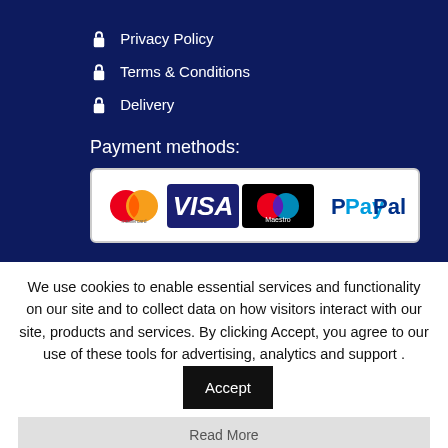🔒 Privacy Policy
🔒 Terms & Conditions
🔒 Delivery
Payment methods:
[Figure (other): Payment method logos: Mastercard, Visa, Maestro, PayPal]
We use cookies to enable essential services and functionality on our site and to collect data on how visitors interact with our site, products and services. By clicking Accept, you agree to our use of these tools for advertising, analytics and support . Accept
Read More